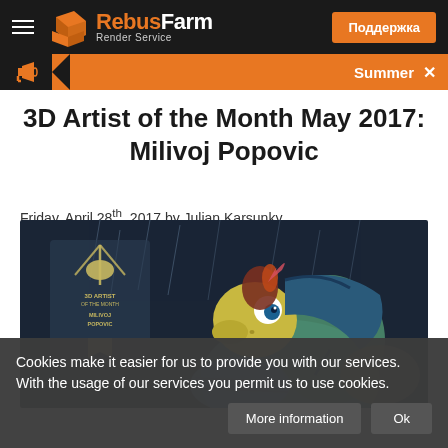RebusFarm Render Service — Поддержка
[Figure (infographic): Orange and black notification bar with megaphone icon and 'Summer' text]
3D Artist of the Month May 2017: Milivoj Popovic
Friday, April 28th, 2017 by Julian Karsunky
[Figure (photo): 3D render of a turtle-like character wearing a blue jacket and helmet, with a chicken-headed companion, dark moody background with rain and a 3D Artist of the Month badge.]
Cookies make it easier for us to provide you with our services. With the usage of our services you permit us to use cookies.